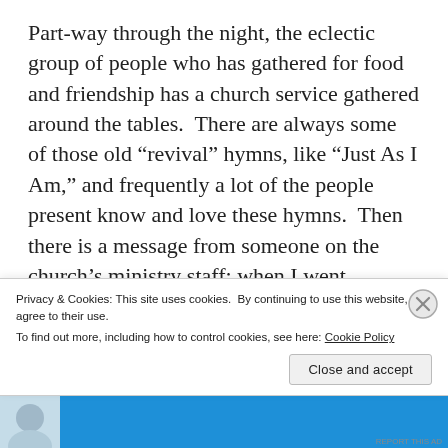Part-way through the night, the eclectic group of people who has gathered for food and friendship has a church service gathered around the tables.  There are always some of those old “revival” hymns, like “Just As I Am,” and frequently a lot of the people present know and love these hymns.  Then there is a message from someone on the church’s ministry staff; when I went, usually Bill or Doug.  The message was simple and always focussed on Jesus and the hope he brings and
Privacy & Cookies: This site uses cookies.  By continuing to use this website, you agree to their use.
To find out more, including how to control cookies, see here: Cookie Policy
Close and accept